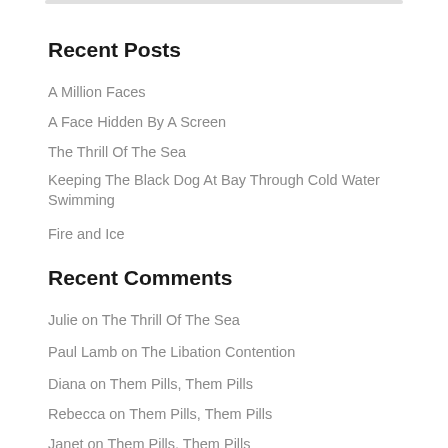Recent Posts
A Million Faces
A Face Hidden By A Screen
The Thrill Of The Sea
Keeping The Black Dog At Bay Through Cold Water Swimming
Fire and Ice
Recent Comments
Julie on The Thrill Of The Sea
Paul Lamb on The Libation Contention
Diana on Them Pills, Them Pills
Rebecca on Them Pills, Them Pills
Janet on Them Pills, Them Pills